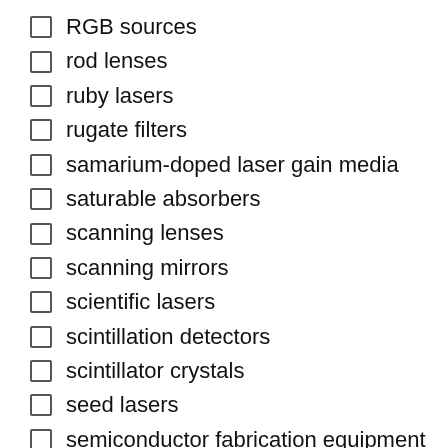RGB sources
rod lenses
ruby lasers
rugate filters
samarium-doped laser gain media
saturable absorbers
scanning lenses
scanning mirrors
scientific lasers
scintillation detectors
scintillator crystals
seed lasers
semiconductor fabrication equipment
semiconductor lasers